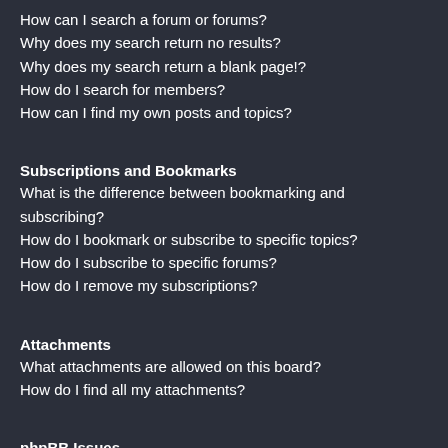How can I search a forum or forums?
Why does my search return no results?
Why does my search return a blank page!?
How do I search for members?
How can I find my own posts and topics?
Subscriptions and Bookmarks
What is the difference between bookmarking and subscribing?
How do I bookmark or subscribe to specific topics?
How do I subscribe to specific forums?
How do I remove my subscriptions?
Attachments
What attachments are allowed on this board?
How do I find all my attachments?
phpBB Issues
Who wrote this bulletin board?
Why isn't X feature available?
Who do I contact about abusive and/or legal matters related to this board?
How do I contact a board administrator?